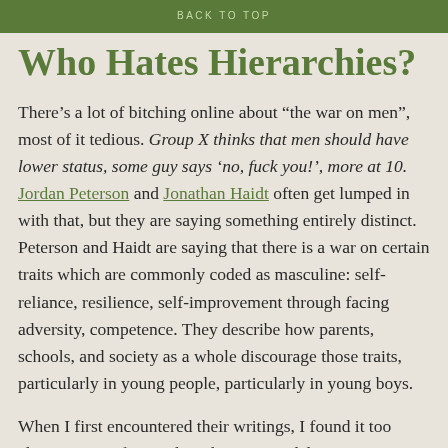BACK TO TOP
Who Hates Hierarchies?
There’s a lot of bitching online about “the war on men”, most of it tedious. Group X thinks that men should have lower status, some guy says ‘no, fuck you!’, more at 10. Jordan Peterson and Jonathan Haidt often get lumped in with that, but they are saying something entirely distinct. Peterson and Haidt are saying that there is a war on certain traits which are commonly coded as masculine: self-reliance, resilience, self-improvement through facing adversity, competence. They describe how parents, schools, and society as a whole discourage those traits, particularly in young people, particularly in young boys.
When I first encountered their writings, I found it too alarmist. But after reading the APA guidelines I remembered that Peterson and Haidt are both